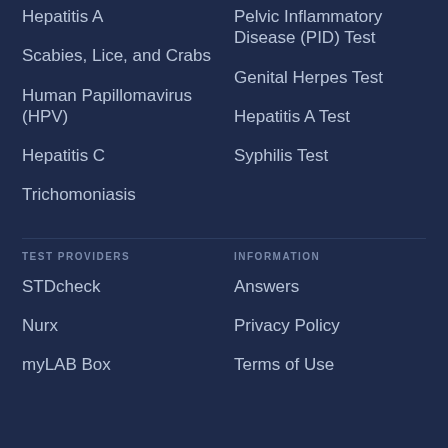Hepatitis A
Pelvic Inflammatory Disease (PID) Test
Scabies, Lice, and Crabs
Genital Herpes Test
Human Papillomavirus (HPV)
Hepatitis A Test
Hepatitis C
Syphilis Test
Trichomoniasis
TEST PROVIDERS
INFORMATION
STDcheck
Answers
Nurx
Privacy Policy
myLAB Box
Terms of Use